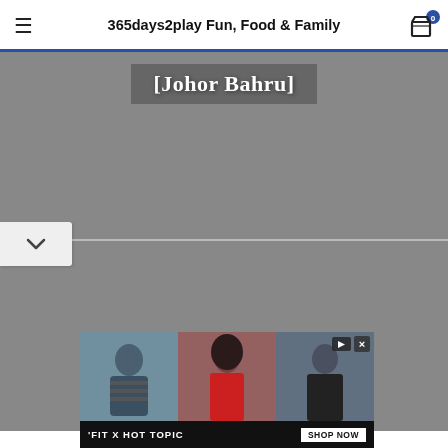365days2play Fun, Food & Family
[Figure (photo): Gray placeholder image with white bold bracketed text '[Johor Bahru]' overlaid at the top]
[Figure (photo): Gray placeholder image (second photo panel), partially overlaid with NEXT STORY bar at bottom]
NEXT STORY
[Figure (photo): Advertisement banner showing 'FIT X HOT TOPIC' with three celebrity photos and SHOP NOW button]